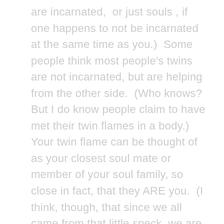are incarnated,  or just souls , if one happens to not be incarnated at the same time as you.)  Some people think most people's twins are not incarnated, but are helping from the other side.  (Who knows? But I do know people claim to have met their twin flames in a body.)  Your twin flame can be thought of as your closest soul mate or member of your soul family, so close in fact, that they ARE you.  (I think, though, that since we all came from that little speck, we are all really one, but maybe because we feel so bonded to our soul connections, it is easier to realize this with them.)  Theoretically, one purpose of twin flames is an attempt to unify the masculine and feminine energies of your soul.  That is why, theoretically, you are supposed to be in your last lifetime on earth when you meet your twin, to integrate that aspect of yourself back into your soul, which then, will re-unite with the Godhead, never to re-incarnate again, as you have